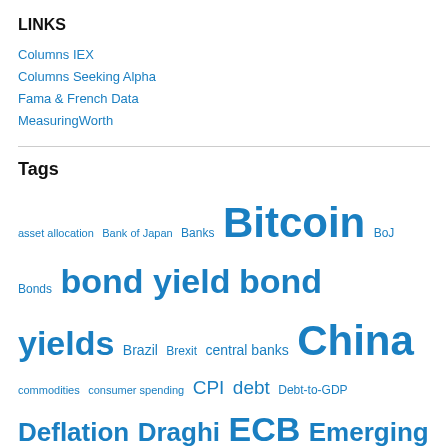LINKS
Columns IEX
Columns Seeking Alpha
Fama & French Data
MeasuringWorth
Tags
asset allocation Bank of Japan Banks Bitcoin BoJ Bonds bond yield bond yields Brazil Brexit central banks China commodities consumer spending CPI debt Debt-to-GDP Deflation Draghi ECB Emerging Markets Equities Equity returns Euro Eurozone Fed Federal Open Market Committee Federal Reserve Federal Reserve System